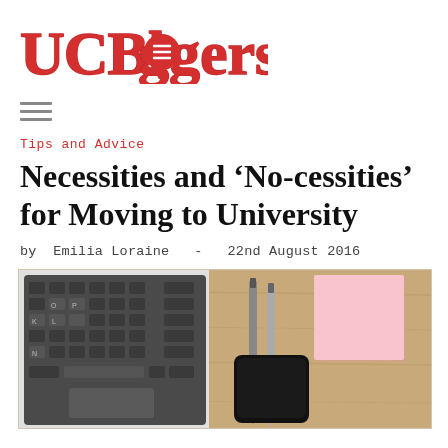UCBloggers
≡
Tips and Advice
Necessities and ‘No-cessities’ for Moving to University
by Emilia Loraine  -  22nd August 2016
[Figure (photo): Overhead view of a wooden desk with a laptop keyboard on the left, two pens, a smartphone, and a pink sticky note pad on the right]